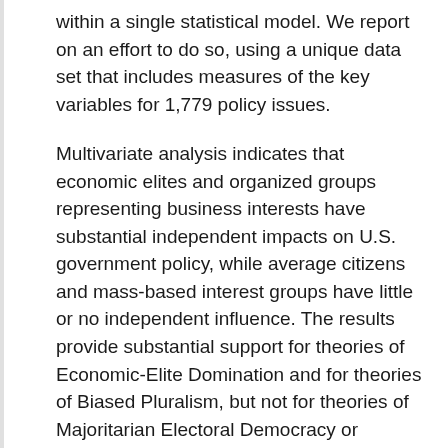within a single statistical model. We report on an effort to do so, using a unique data set that includes measures of the key variables for 1,779 policy issues.
Multivariate analysis indicates that economic elites and organized groups representing business interests have substantial independent impacts on U.S. government policy, while average citizens and mass-based interest groups have little or no independent influence. The results provide substantial support for theories of Economic-Elite Domination and for theories of Biased Pluralism, but not for theories of Majoritarian Electoral Democracy or Majoritarian Pluralism.